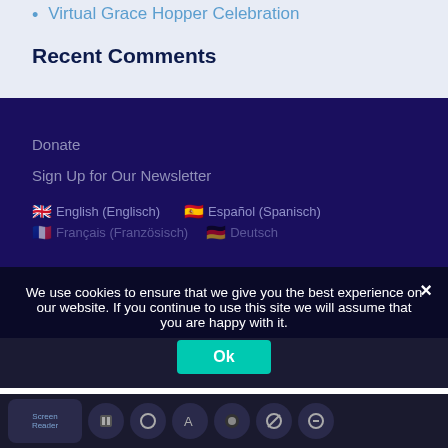Virtual Grace Hopper Celebration
Recent Comments
Donate
Sign Up for Our Newsletter
🇬🇧 English (Englisch)   🇪🇸 Español (Spanisch)
🇫🇷 Français (Französisch)   🇩🇪 Deutsch
We use cookies to ensure that we give you the best experience on our website. If you continue to use this site we will assume that you are happy with it.
Ok